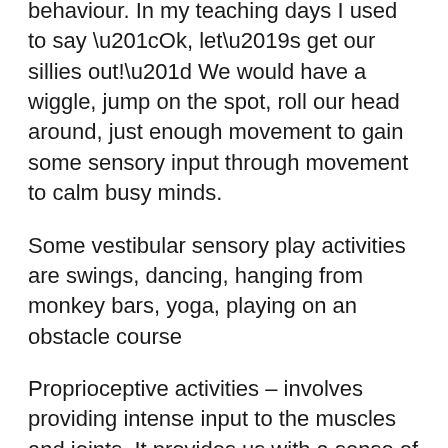behaviour. In my teaching days I used to say “Ok, let’s get our sillies out!” We would have a wiggle, jump on the spot, roll our head around, just enough movement to gain some sensory input through movement to calm busy minds.
Some vestibular sensory play activities are swings, dancing, hanging from monkey bars, yoga, playing on an obstacle course
Proprioceptive activities – involves providing intense input to the muscles and joints. It provides us with a sense of body awareness. The proprioceptive system also has an important regulatory role in sensory processing as proprioceptive input can assist in controlling responses to sensory stimuli.